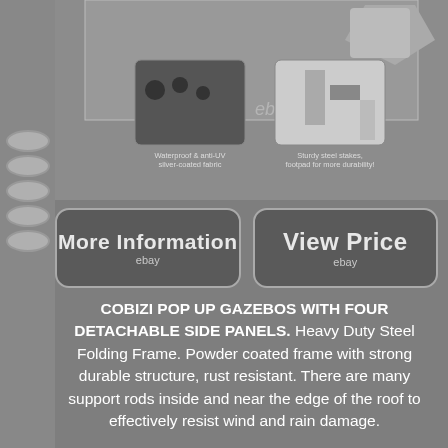[Figure (photo): Product listing screenshot showing waterproof anti-UV silver-coated fabric and sturdy steel stakes footpad images with ebay watermark]
[Figure (other): More Information button with ebay branding]
[Figure (other): View Price button with ebay branding]
COBIZI POP UP GAZEBOS WITH FOUR DETACHABLE SIDE PANELS. Heavy Duty Steel Folding Frame. Powder coated frame with strong durable structure, rust resistant. There are many support rods inside and near the edge of the roof to effectively resist wind and rain damage.

The roof of the gazebo is waterproof. Fully Waterproof PVC Coated Roof Fabric. Made of high-quality 210D Oxford cloth, with PVC coated polyester, three layers of protection. Waterproof, UPF 50+, can block 99% of the sun's rays.